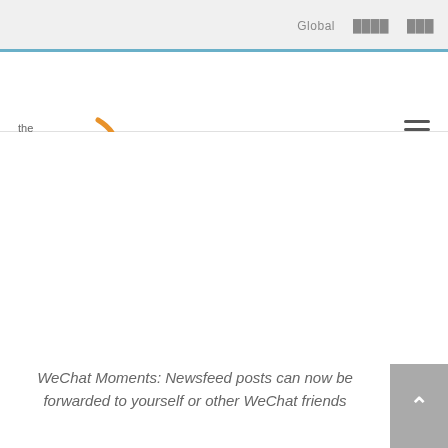Global  ████  ███
[Figure (logo): The Egg logo with orange arc and grey text]
WeChat Moments: Newsfeed posts can now be forwarded to yourself or other WeChat friends